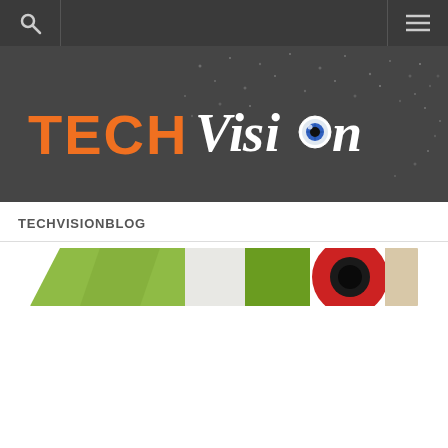[Figure (logo): TechVision blog logo: 'TECH' in orange bold letters and 'Vision' in white stylized text with an eye graphic for the letter 'o', on a dark gray background with scattered dot particles]
TECHVISIONBLOG
[Figure (photo): Partial blog post thumbnail showing green, white, and red colored shapes with a dark circular element (eye/lens) on a light background]